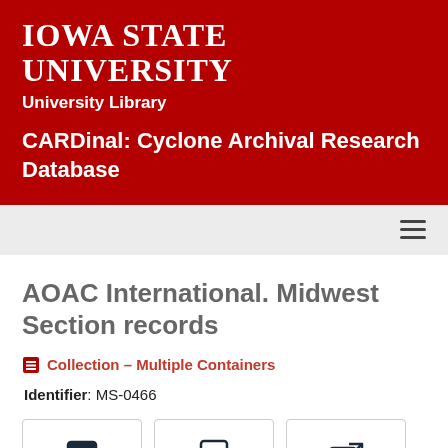Iowa State University University Library
CARDinal: Cyclone Archival Research Database
AOAC International. Midwest Section records
Collection – Multiple Containers
Identifier: MS-0466
Citation
Print
Aeon Request